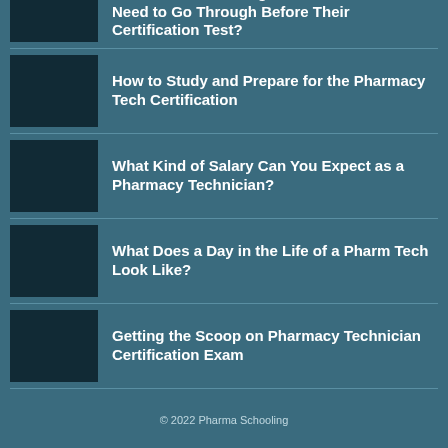What Kind of Training Does a Pharm Tech Need to Go Through Before Their Certification Test?
How to Study and Prepare for the Pharmacy Tech Certification
What Kind of Salary Can You Expect as a Pharmacy Technician?
What Does a Day in the Life of a Pharm Tech Look Like?
Getting the Scoop on Pharmacy Technician Certification Exam
© 2022 Pharma Schooling